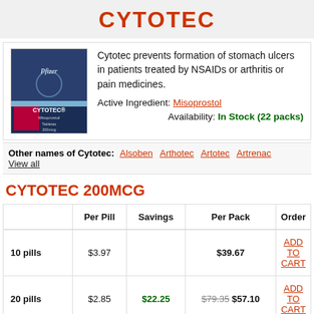CYTOTEC
[Figure (photo): Box of Cytotec (Misoprostol 200mcg) by Pfizer]
Cytotec prevents formation of stomach ulcers in patients treated by NSAIDs or arthritis or pain medicines.
Active Ingredient: Misoprostol
Availability: In Stock (22 packs)
Other names of Cytotec: Alsoben Arthotec Artotec Artrenac View all
CYTOTEC 200MCG
|  | Per Pill | Savings | Per Pack | Order |
| --- | --- | --- | --- | --- |
| 10 pills | $3.97 |  | $39.67 | ADD TO CART |
| 20 pills | $2.85 | $22.25 | $79.35 $57.10 | ADD TO CART |
| 30 pills | $2.48 | $44.49 | $119.01 $74.52 | ADD TO CART |